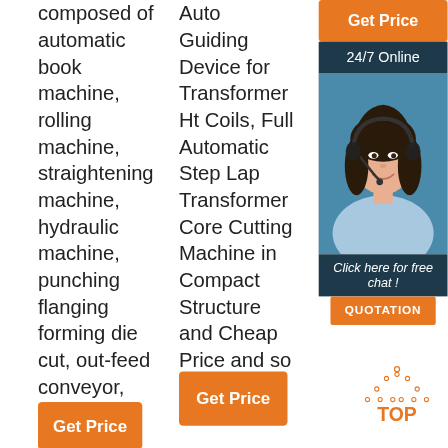composed of automatic book machine, rolling machine, straightening machine, hydraulic machine, punching flanging forming die cut, out-feed conveyor, pneumatic, hydraulic system …
Auto Guiding Device for Transformer Ht Coils, Full Automatic Step Lap Transformer Core Cutting Machine in Compact Structure and Cheap Price and so on.
China.com.
[Figure (screenshot): Orange Get Price button and dark blue 24/7 Online panel with woman wearing headset and chat/quotation widgets on right sidebar]
[Figure (logo): TOP icon with dotted triangle and orange TDP text]
Get Price
Get Price